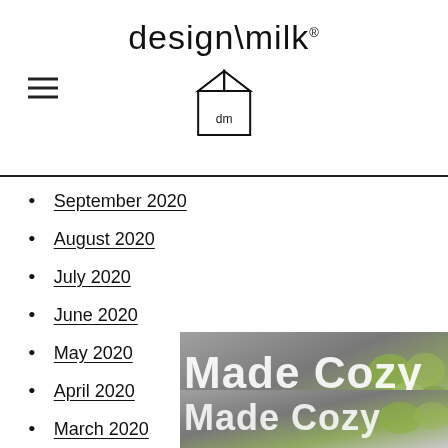design\milk (logo with milk carton icon)
September 2020
August 2020
July 2020
June 2020
May 2020
April 2020
March 2020
February 2020
January 2020
December 2019
November...
[Figure (photo): Overlay image with 'Made Cozy' text over decorative pillows photo, appearing twice]